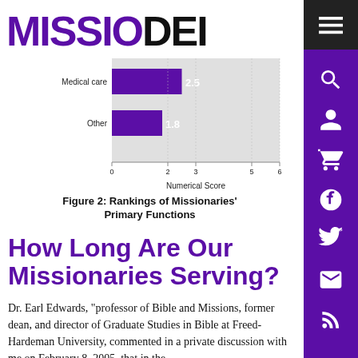MISSIO DEI
[Figure (bar-chart): Figure 2: Rankings of Missionaries' Primary Functions]
Figure 2: Rankings of Missionaries' Primary Functions
How Long Are Our Missionaries Serving?
Dr. Earl Edwards, “professor of Bible and Missions, former dean, and director of Graduate Studies in Bible at Freed-Hardeman University, commented in a private discussion with me on February 8, 2005, that in the